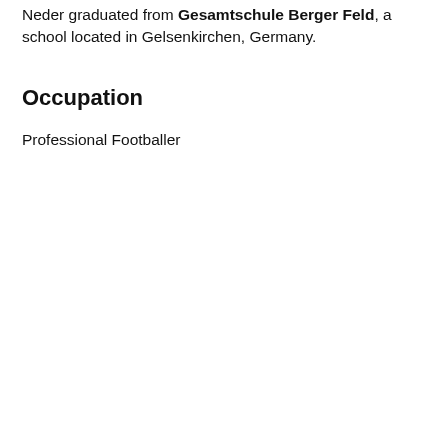Neder graduated from Gesamtschule Berger Feld, a school located in Gelsenkirchen, Germany.
Occupation
Professional Footballer